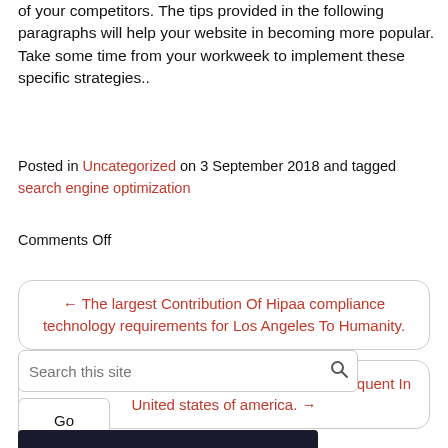of your competitors. The tips provided in the following paragraphs will help your website in becoming more popular. Take some time from your workweek to implement these specific strategies..
Posted in Uncategorized on 3 September 2018 and tagged search engine optimization
Comments Off
← The largest Contribution Of Hipaa compliance technology requirements for Los Angeles To Humanity.
14 Explanations Why Video Seo Software Is Frequent In United states of america. →
[Figure (screenshot): Search box with placeholder 'Search this site' and a Go button below it]
[Figure (photo): Dark background image partially visible at bottom of page]